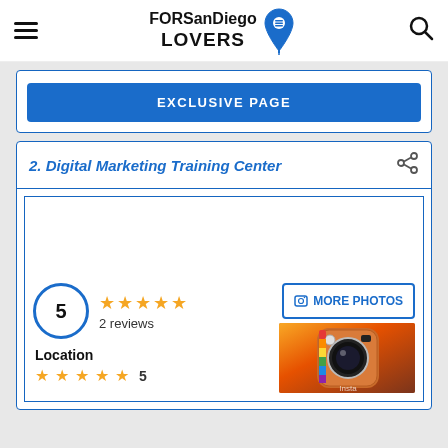FORSanDiego LOVERS
EXCLUSIVE PAGE
2. Digital Marketing Training Center
5
2 reviews
MORE PHOTOS
[Figure (photo): Instagram app icon photo]
Location
5 stars — 5